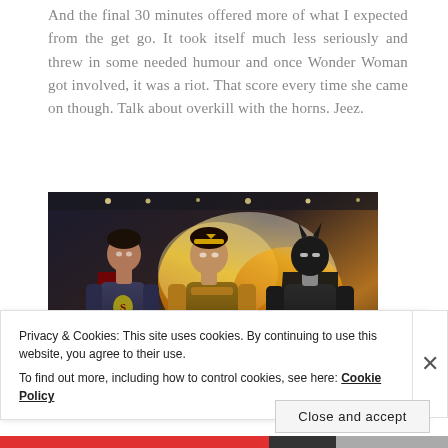And the final 30 minutes offered more of what I expected from the get go. It took itself much less seriously and threw in some needed humour and once Wonder Woman got involved, it was a riot. That score every time she came on though. Talk about overkill with the horns. Jeez.
[Figure (photo): Movie still from Batman v Superman: three superheroes — Superman, Wonder Woman, and Batman — standing together in front of an explosion and dramatic lighting.]
Privacy & Cookies: This site uses cookies. By continuing to use this website, you agree to their use.
To find out more, including how to control cookies, see here: Cookie Policy
Close and accept